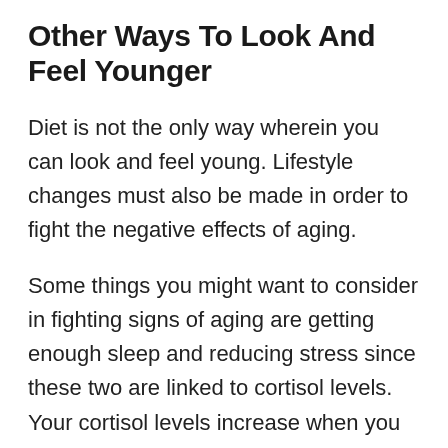Other Ways To Look And Feel Younger
Diet is not the only way wherein you can look and feel young. Lifestyle changes must also be made in order to fight the negative effects of aging.
Some things you might want to consider in fighting signs of aging are getting enough sleep and reducing stress since these two are linked to cortisol levels. Your cortisol levels increase when you are too stressed and don't get enough sleep. This is not good for your body that is why you need to reduce stress in your life by